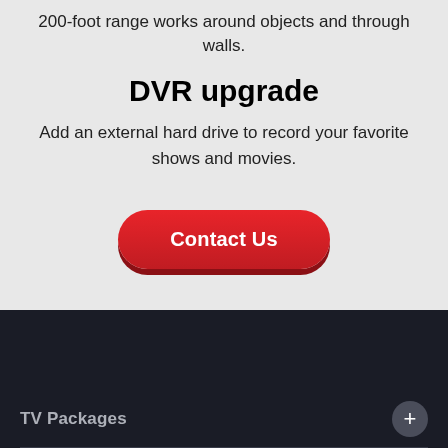200-foot range works around objects and through walls.
DVR upgrade
Add an external hard drive to record your favorite shows and movies.
[Figure (other): Red pill-shaped Contact Us button]
TV Packages